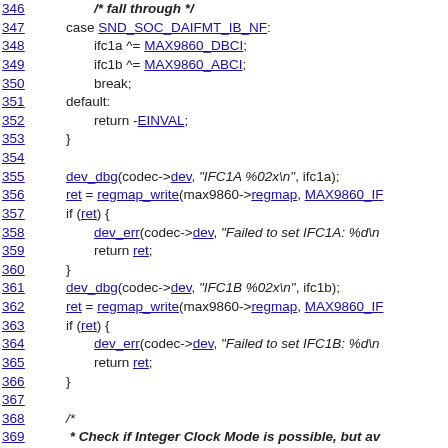346   /* fall through */
347   case SND_SOC_DAIFMT_IB_NF:
348       ifc1a ^= MAX9860_DBCI;
349       ifc1b ^= MAX9860_ABCI;
350       break;
351   default:
352       return -EINVAL;
353   }
354
355   dev_dbg(codec->dev, "IFC1A  %02x\n", ifc1a);
356   ret = regmap_write(max9860->regmap, MAX9860_IF...
357   if (ret) {
358       dev_err(codec->dev, "Failed to set IFC1A: %d\n...
359       return ret;
360   }
361   dev_dbg(codec->dev, "IFC1B  %02x\n", ifc1b);
362   ret = regmap_write(max9860->regmap, MAX9860_IF...
363   if (ret) {
364       dev_err(codec->dev, "Failed to set IFC1B: %d\n...
365       return ret;
366   }
367
368   /*
369    * Check if Integer Clock Mode is possible, but av...
370    * since we then do not know if lrclk is derived fro...